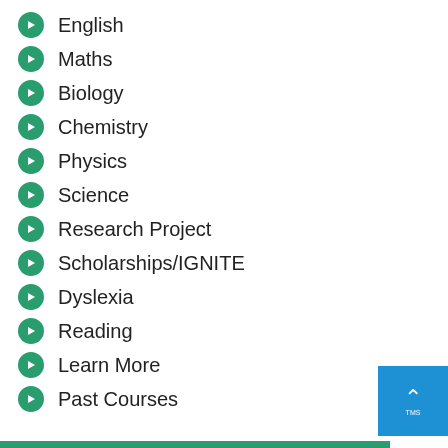English
Maths
Biology
Chemistry
Physics
Science
Research Project
Scholarships/IGNITE
Dyslexia
Reading
Learn More
Past Courses